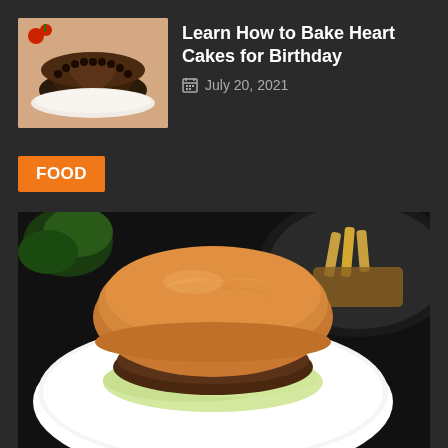[Figure (photo): Heart-shaped chocolate cake on a plate]
Learn How to Bake Heart Cakes for Birthday
July 20, 2021
FOOD
[Figure (photo): Burger sandwich on a white plate with salad and fries in background]